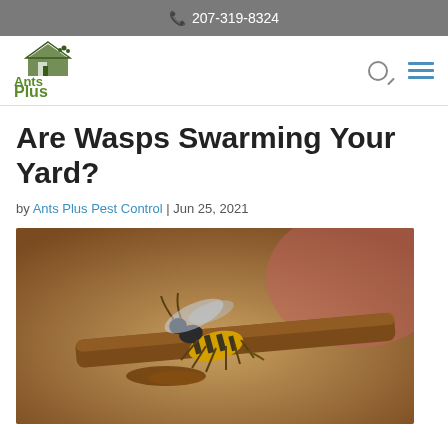207-319-8324
[Figure (logo): Ants Plus pest control company logo with green text and house icon]
Are Wasps Swarming Your Yard?
by Ants Plus Pest Control | Jun 25, 2021
[Figure (photo): Close-up photo of a yellow and black wasp on a surface with liquid droplets]